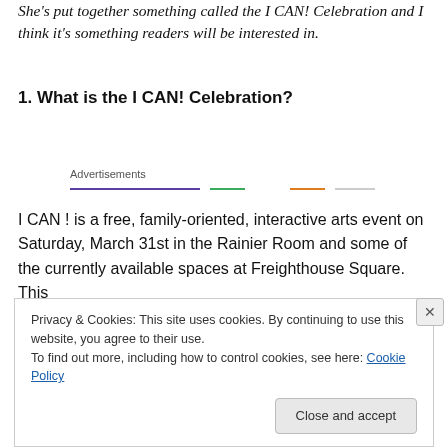She's put together something called the I CAN! Celebration and I think it's something readers will be interested in.
1. What is the I CAN! Celebration?
Advertisements
I CAN ! is a free, family-oriented, interactive arts event on Saturday, March 31st in the Rainier Room and some of the currently available spaces at Freighthouse Square. This
Privacy & Cookies: This site uses cookies. By continuing to use this website, you agree to their use.
To find out more, including how to control cookies, see here: Cookie Policy
Close and accept